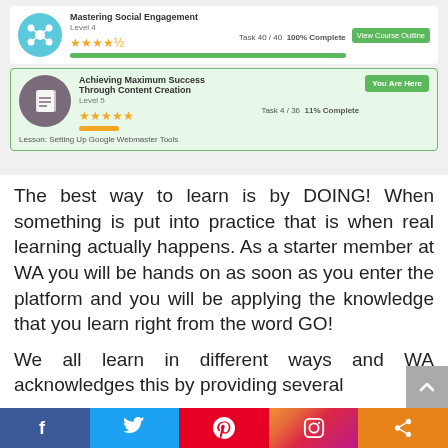[Figure (screenshot): Screenshot of a learning platform showing two course panels: 'Mastering Social Engagement' (Level 4, 4.5 stars, Task 40/40, 100% Complete) with a View Course Outline button, and 'Achieving Maximum Success Through Content Creation' (Level 5, 5 stars, Task 4/36, 11% Complete, You Are Here) with lesson 'Setting Up Google Webmaster Tools'.]
The best way to learn is by DOING! When something is put into practice that is when real learning actually happens. As a starter member at WA you will be hands on as soon as you enter the platform and you will be applying the knowledge that you learn right from the word GO!
We all learn in different ways and WA acknowledges this by providing several